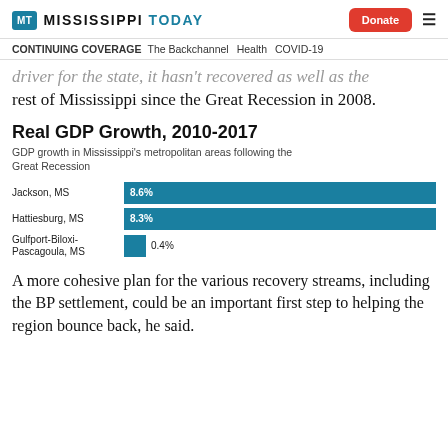Mississippi Today | Donate
CONTINUING COVERAGE  The Backchannel  Health  COVID-19
driver for the state, it hasn't recovered as well as the rest of Mississippi since the Great Recession in 2008.
[Figure (bar-chart): Real GDP Growth, 2010-2017]
A more cohesive plan for the various recovery streams, including the BP settlement, could be an important first step to helping the region bounce back, he said.